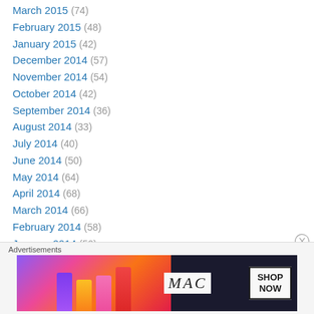March 2015 (74)
February 2015 (48)
January 2015 (42)
December 2014 (57)
November 2014 (54)
October 2014 (42)
September 2014 (36)
August 2014 (33)
July 2014 (40)
June 2014 (50)
May 2014 (64)
April 2014 (68)
March 2014 (66)
February 2014 (58)
January 2014 (50)
December 2013 (45)
[Figure (photo): MAC cosmetics advertisement banner showing colorful lipsticks with MAC logo and SHOP NOW button]